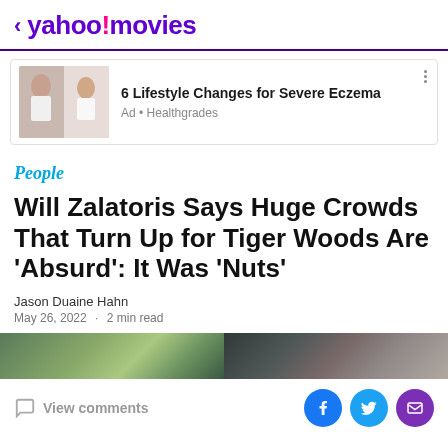< yahoo! movies
[Figure (photo): Advertisement banner with image of woman touching her face, headline '6 Lifestyle Changes for Severe Eczema', source 'Ad • Healthgrades']
6 Lifestyle Changes for Severe Eczema
Ad • Healthgrades
People
Will Zalatoris Says Huge Crowds That Turn Up for Tiger Woods Are 'Absurd': It Was 'Nuts'
Jason Duaine Hahn
May 26, 2022 · 2 min read
[Figure (photo): Blurred photo strip showing two panels — left: outdoor green/nature scene, right: dark blurred figures]
View comments